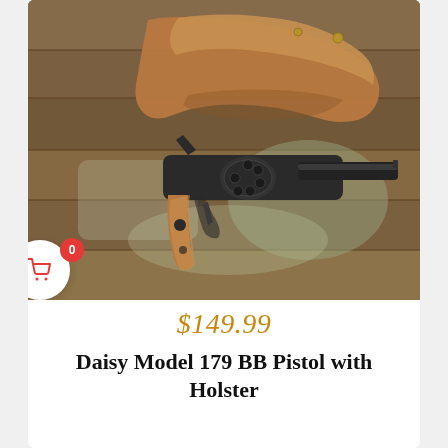[Figure (photo): A Daisy Model 179 BB Pistol revolver with wooden grips lying flat on a rustic distressed wooden surface, with a tan leather holster positioned above it. The revolver is black/dark metal with brown wooden grip panels. A shopping cart icon button with badge showing '0' is overlaid on the left side of the image.]
$149.99
Daisy Model 179 BB Pistol with Holster